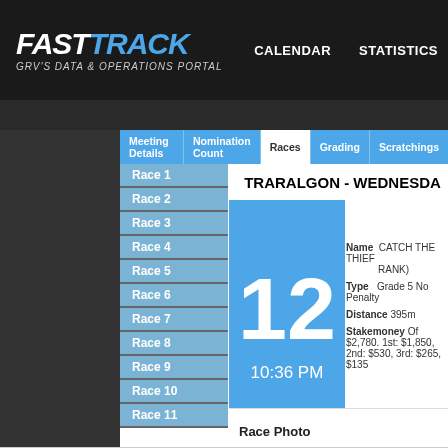FAST TRACK - GRV'S DATA & OPERATIONS PORTAL | CALENDAR | STATISTICS
Meeting Details | Nomination Count | Races | Grading | Scratchings
Race 1
Race 2
Race 3
Race 4
Race 5
Race 6
Race 7
Race 8
Race 9
Race 10
Race 11
TRARALGON - WEDNESDAY
12 | 10:36 PM
Name: CATCH THE THIEF (RANK)
Type: Grade 5 No Penalty
Distance: 395m
Stakemoney: Of $2,780. 1st: $1,850, 2nd: $530, 3rd: $265, $135
Race Photo